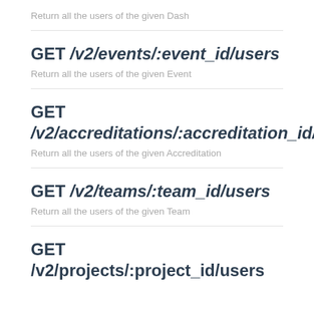Return all the users of the given Dash
GET /v2/events/:event_id/users
Return all the users of the given Event
GET /v2/accreditations/:accreditation_id/users
Return all the users of the given Accreditation
GET /v2/teams/:team_id/users
Return all the users of the given Team
GET /v2/projects/:project_id/users